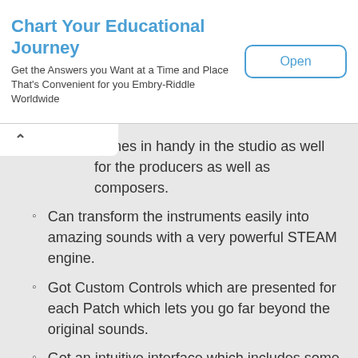Chart Your Educational Journey
Get the Answers you Want at a Time and Place That's Convenient for you Embry-Riddle Worldwide
comes in handy in the studio as well for the producers as well as composers.
Can transform the instruments easily into amazing sounds with a very powerful STEAM engine.
Got Custom Controls which are presented for each Patch which lets you go far beyond the original sounds.
Got an intuitive interface which includes some very useful performance controls as well as high quality creative effects processing specially created for each Patch.
Includes some special hybrid Duo sounds which combines two instruments for creating completely